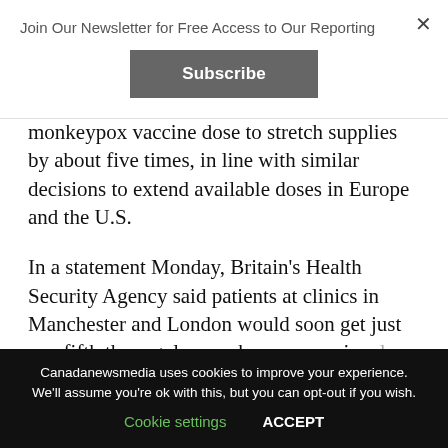Join Our Newsletter for Free Access to Our Reporting
monkeypox vaccine dose to stretch supplies by about five times, in line with similar decisions to extend available doses in Europe and the U.S.
In a statement Monday, Britain's Health Security Agency said patients at clinics in Manchester and London would soon get just one fifth the regular monkeypox vaccine dose as part of ongoing research, citing earlier work suggesting the smaller dose provided as effective an immune response as a full dose.
Canadanewsmedia uses cookies to improve your experience. We'll assume you're ok with this, but you can opt-out if you wish. Cookie settings  ACCEPT